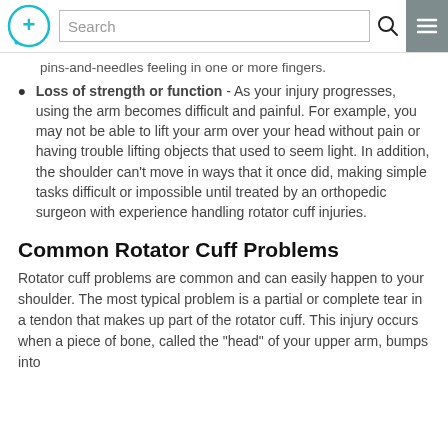Search
pins-and-needles feeling in one or more fingers.
Loss of strength or function - As your injury progresses, using the arm becomes difficult and painful. For example, you may not be able to lift your arm over your head without pain or having trouble lifting objects that used to seem light. In addition, the shoulder can't move in ways that it once did, making simple tasks difficult or impossible until treated by an orthopedic surgeon with experience handling rotator cuff injuries.
Common Rotator Cuff Problems
Rotator cuff problems are common and can easily happen to your shoulder. The most typical problem is a partial or complete tear in a tendon that makes up part of the rotator cuff. This injury occurs when a piece of bone, called the "head" of your upper arm, bumps into